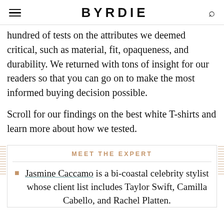BYRDIE
hundred of tests on the attributes we deemed critical, such as material, fit, opaqueness, and durability. We returned with tons of insight for our readers so that you can go on to make the most informed buying decision possible.
Scroll for our findings on the best white T-shirts and learn more about how we tested.
MEET THE EXPERT
Jasmine Caccamo is a bi-coastal celebrity stylist whose client list includes Taylor Swift, Camilla Cabello, and Rachel Platten.